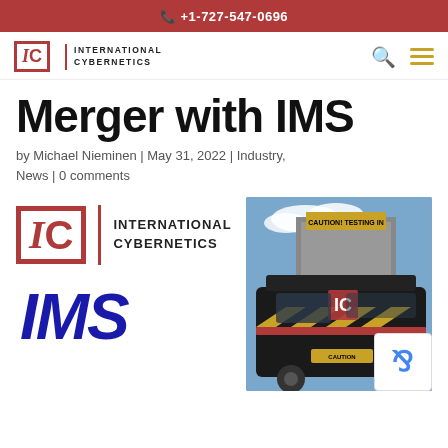+1-727-547-0696
[Figure (logo): International Cybernetics logo with IC monogram and navigation icons]
Merger with IMS
by Michael Nieminen | May 31, 2022 | Industry, News | 0 comments
[Figure (logo): International Cybernetics large logo and IMS blue italic logo stacked vertically on the left side]
[Figure (photo): Dark van/truck with CAUTION TESTING IN PROGRESS signage and IC logo on the vehicle, exterior shot]